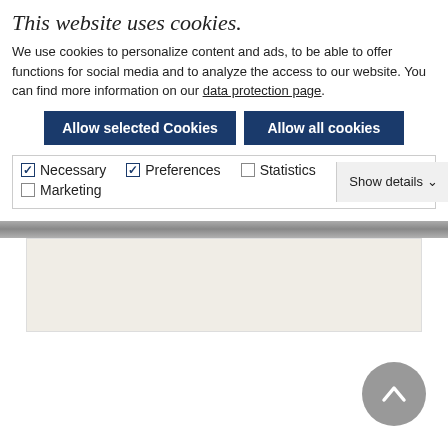This website uses cookies.
We use cookies to personalize content and ads, to be able to offer functions for social media and to analyze the access to our website. You can find more information on our data protection page.
Allow selected Cookies | Allow all cookies
Necessary (checked), Preferences (checked), Statistics (unchecked), Marketing (unchecked), Show details
[Figure (screenshot): Beige/cream colored rectangular block, likely a blurred or obscured content area on website]
[Figure (illustration): Gray circular scroll-to-top button with upward chevron arrow]